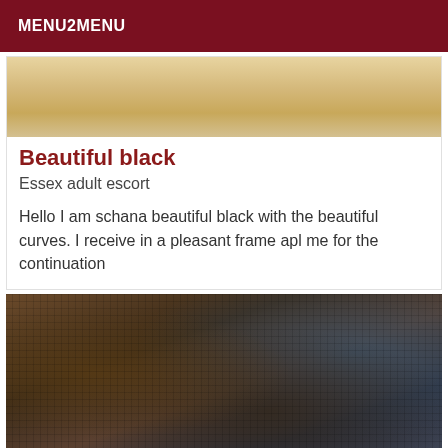MENU2MENU
[Figure (photo): Partial photo showing a person in a yellow/orange outfit, cropped to show torso area]
Beautiful black
Essex adult escort
Hello I am schana beautiful black with the beautiful curves. I receive in a pleasant frame apl me for the continuation
[Figure (photo): Close-up photo of a woven rattan/cane decorative item with colorful shell or mosaic inlays and a dark leather or vinyl item on the right]